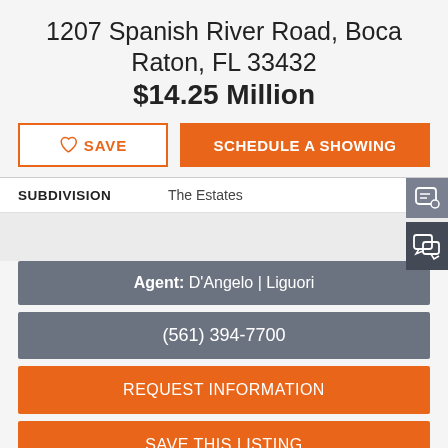1207 Spanish River Road, Boca Raton, FL 33432
$14.25 Million
SAVE
SCHEDULE A SHOWING
| SUBDIVISION |  |
| --- | --- |
| SUBDIVISION | The Estates |
Agent: D'Angelo | Liguori
(561) 394-7700
REQUEST INFORMATION
SAVE THIS LISTING